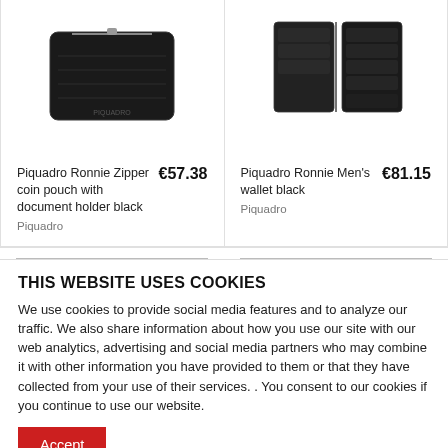[Figure (photo): Piquadro Ronnie Zipper coin pouch with document holder black - product photo on white background]
[Figure (photo): Piquadro Ronnie Men's wallet black - open bi-fold wallet product photo on white background]
Piquadro Ronnie Zipper coin pouch with document holder black
€57.38
Piquadro
Piquadro Ronnie Men's wallet black
€81.15
Piquadro
THIS WEBSITE USES COOKIES
We use cookies to provide social media features and to analyze our traffic. We also share information about how you use our site with our web analytics, advertising and social media partners who may combine it with other information you have provided to them or that they have collected from your use of their services. . You consent to our cookies if you continue to use our website.
[Figure (photo): Dark navy/black product image at bottom left]
[Figure (photo): Dark blue product image at bottom right]